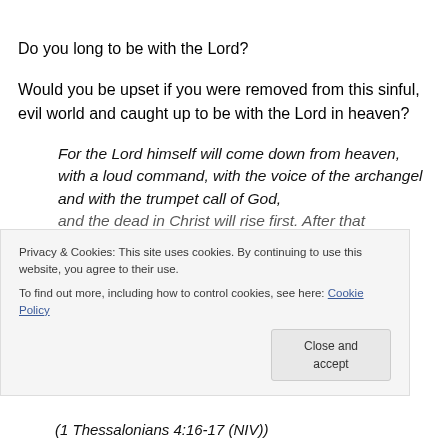Do you long to be with the Lord?
Would you be upset if you were removed from this sinful, evil world and caught up to be with the Lord in heaven?
For the Lord himself will come down from heaven, with a loud command, with the voice of the archangel and with the trumpet call of God, and the dead in Christ will rise first. After that
Privacy & Cookies: This site uses cookies. By continuing to use this website, you agree to their use.
To find out more, including how to control cookies, see here: Cookie Policy
Close and accept
(1 Thessalonians 4:16-17 (NIV))